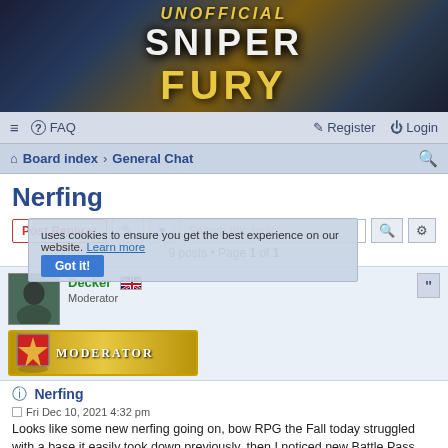[Figure (illustration): Unofficial Sniper Fury game banner with dark background, gold hexagons, and stylized text reading UNOFFICIAL SNIPER FURY]
≡  FAQ    Register  Login
Board index › General Chat
Nerfing
Post Reply   [tools]   Search this topic...   9 posts • Page 1 of 1
Decker [UK flag]
Moderator
[MODERATOR badge]
Nerfing
Fri Dec 10, 2021 4:32 pm
Looks like some new nerfing going on, bow RPG the Fall today struggled with a base it easily took down previously, then I noticed new Battle Pass